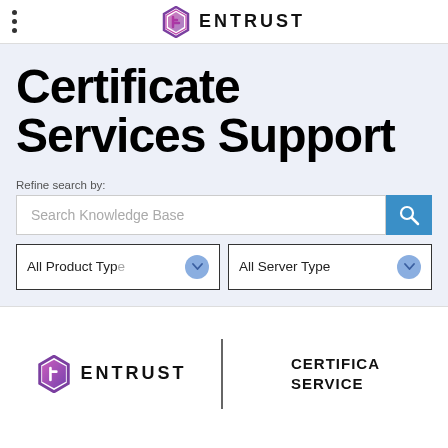ENTRUST
Certificate Services Support
Refine search by:
Search Knowledge Base
All Product Type
All Server Type
[Figure (logo): Entrust logo with hexagon icon and ENTRUST text, shown twice — in the nav bar and in the bottom section alongside CERTIFICATE SERVICES text]